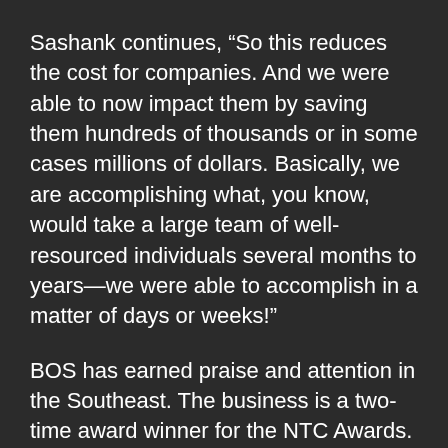Sashank continues, “So this reduces the cost for companies. And we were able to now impact them by saving them hundreds of thousands or in some cases millions of dollars. Basically, we are accomplishing what, you know, would take a large team of well-resourced individuals several months to years—we were able to accomplish in a matter of days or weeks!”
BOS has earned praise and attention in the Southeast. The business is a two-time award winner for the NTC Awards. According to the Nashville Post, the company received “$2 million in funding from, among others, former Emma CEO Clint Smith, Andrew Goldner at GrowthX, Wes Warrington of Resolve Diagnostics and Robert Grajewski of The Wond’ry.” Outside of Nashville, BOS was selected for the 2020 Class of Techstars Atlanta Accelerator. This 14-week program—which Sashank compares to a military-style boot camp—